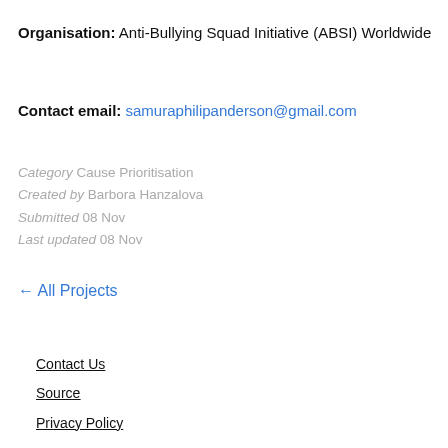Organisation: Anti-Bullying Squad Initiative (ABSI) Worldwide
Contact email: samuraphilipanderson@gmail.com
Category Cause Prioritisation
Created by Barbora Hanzalova
Submitted 08 Nov
Last updated 08 Nov
← All Projects
Contact Us
Source
Privacy Policy